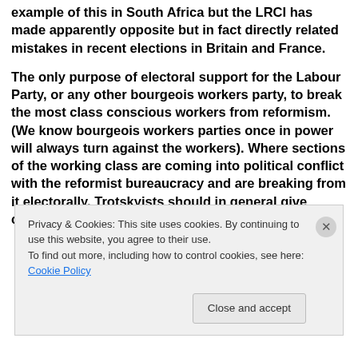example of this in South Africa but the LRCI has made apparently opposite but in fact directly related mistakes in recent elections in Britain and France.

The only purpose of electoral support for the Labour Party, or any other bourgeois workers party, to break the most class conscious workers from reformism. (We know bourgeois workers parties once in power will always turn against the workers). Where sections of the working class are coming into political conflict with the reformist bureaucracy and are breaking from it electorally, Trotskyists should in general give critical
Privacy & Cookies: This site uses cookies. By continuing to use this website, you agree to their use.
To find out more, including how to control cookies, see here: Cookie Policy